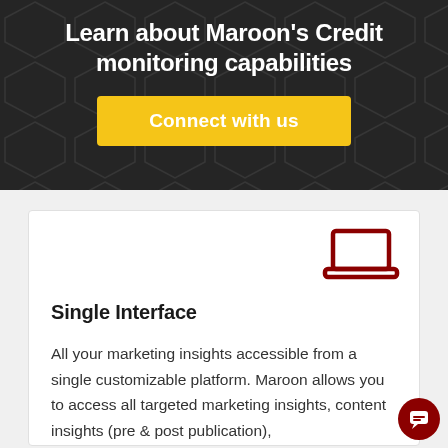Learn about Maroon's Credit monitoring capabilities
[Figure (other): Yellow 'Connect with us' button]
[Figure (other): Dark red laptop icon in top-right of white card]
Single Interface
All your marketing insights accessible from a single customizable platform. Maroon allows you to access all targeted marketing insights, content insights (pre & post publication),